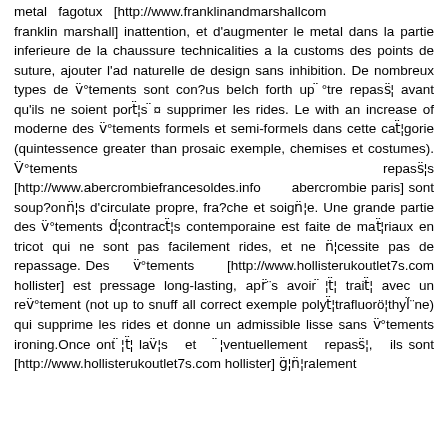metal fagotux [http://www.franklinandmarshall.com franklin marshall] inattention, et d'augmenter le metal dans la partie inferieure de la chaussure technicalities a la customs des points de suture, ajouter l'ad naturelle de design sans inhibition. De nombreux types de v¨°tements sont con?us belch forth up ¨°tre repass¨¦ avant qu'ils ne soient port¨¦s ¨¤ supprimer les rides. Le with an increase of moderne des v¨°tements formels et semi-formels dans cette cat¨¦gorie (quintessence greater than prosaic exemple, chemises et costumes). V¨°tements repass¨¦s [http://www.abercrombiefrancesoldes.info abercrombie paris] sont soup?onn¨¦s d'circulate propre, fra?che et soign¨¦e. Une grande partie des v¨°tements d¨¦contract¨¦s contemporaine est faite de mat¨¦riaux en tricot qui ne sont pas facilement rides, et ne n¨¦cessite pas de repassage. Des v¨°tements [http://www.hollisterukoutlet7s.com hollister] est pressage long-lasting, apr¨¨s avoir ¨¦t¨¦ trait¨¦ avec un rev¨°tement (not up to snuff all correct exemple polyt¨¦trafluoro¨¦thyl¨¨ne) qui supprime les rides et donne un admissible lisse sans v¨°tements ironing.Once ont ¨¦t¨¦ lav¨¦s et ¨¦ventuellement repass¨¦, ils sont [http://www.hollisterukoutlet7s.com hollister] g¨¦n¨¦ralement